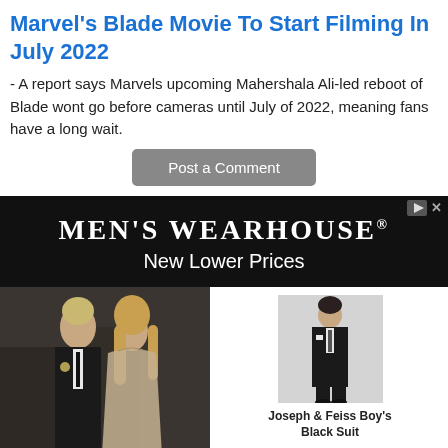Marvel's Blade Movie To Start Filming In July 2022
- A report says Marvels upcoming Mahershala Ali-led reboot of Blade wont go before cameras until July of 2022, meaning fans have a long wait.
Post a Comment
[Figure (infographic): Men's Wearhouse advertisement banner with black background. Shows 'MEN'S WEARHOUSE® New Lower Prices' text. Below: a couple in formalwear on the left, and on the right a product photo of a child in a black suit labeled 'Joseph & Feiss Boy's Black Suit' and 'Joseph & Feiss Boy's Black Suit (1901)'.]